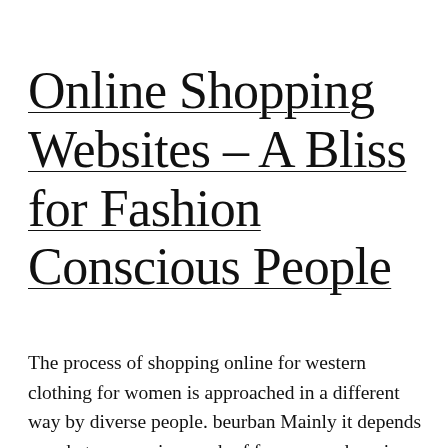Online Shopping Websites – A Bliss for Fashion Conscious People
The process of shopping online for western clothing for women is approached in a different way by diverse people. beurban Mainly it depends on what you are in search of from your shopping